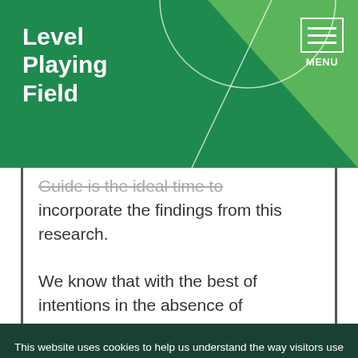Level Playing Field
...Guide is the ideal time to incorporate the findings from this research.

We know that with the best of intentions in the absence of
This website uses cookies to help us understand the way visitors use our website. We can't identify you with them and we don't share the data with anyone else. Find out more in our privacy policy.
Accept cookies
Reject cookies